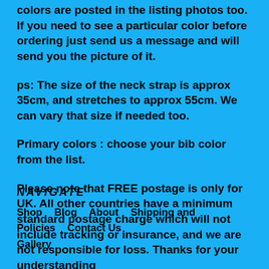colors are posted in the listing photos too. If you need to see a particular color before ordering just send us a message and will send you the picture of it.
ps: The size of the neck strap is approx 35cm, and stretches to approx 55cm. We can vary that size if needed too.
Primary colors : choose your bib color from the list.
Please note that FREE postage is only for UK. All other countries have a minimum standard postage charge which will not include tracking or insurance, and we are not responsible for loss. Thanks for your understanding
NAVIGATE
Shop   Blog   About   Shipping and Policies   Contact Us
Gallery